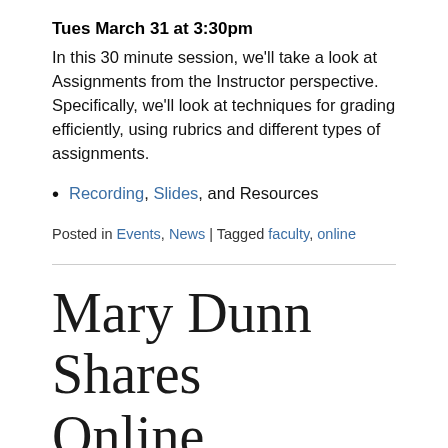Tues March 31 at 3:30pm
In this 30 minute session, we’ll take a look at Assignments from the Instructor perspective. Specifically, we’ll look at techniques for grading efficiently, using rubrics and different types of assignments.
Recording, Slides, and Resources
Posted in Events, News | Tagged faculty, online
Mary Dunn Shares Online Teaching